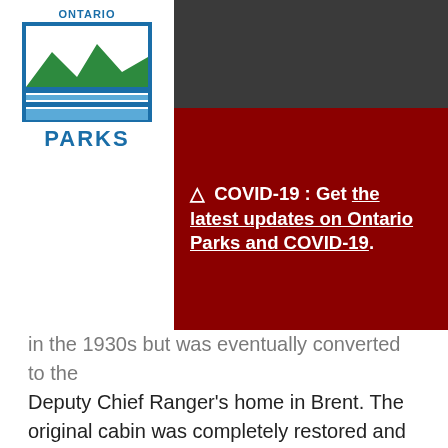[Figure (logo): Ontario Parks logo with ONTARIO text above, stylized landscape graphic, and PARKS text below]
⚠ COVID-19 : Get the latest updates on Ontario Parks and COVID-19.
in the 1930s but was eventually converted to the Deputy Chief Ranger's home in Brent. The original cabin was completely restored and visitors now enjoy a one room open-concept log cabin with an incredible view looking east on Cedar Lake.
Check-in/Check-out
4pm/10am
Sleeps:
2
Amenities